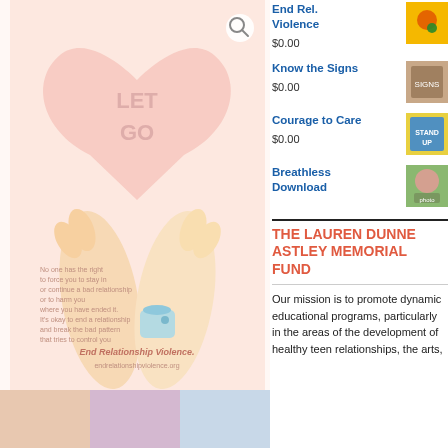[Figure (illustration): Illustration of two hands holding, with a heart shape above and text 'LET GO'. Bottom text reads 'End Relationship Violence.' with a website URL. Light pink/peach background.]
End Rel. Violence
$0.00
Know the Signs
$0.00
Courage to Care
$0.00
Breathless Download
THE LAUREN DUNNE ASTLEY MEMORIAL FUND
Our mission is to promote dynamic educational programs, particularly in the areas of the development of healthy teen relationships, the arts,